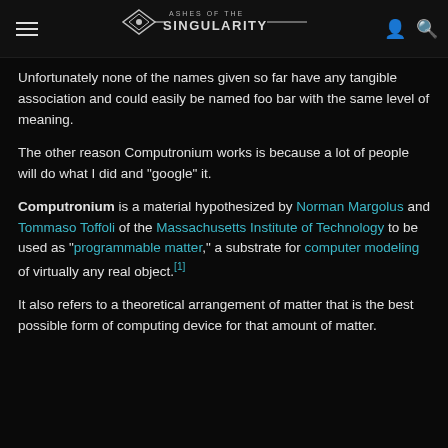ASHES OF THE SINGULARITY
Unfortunately none of the names given so far have any tangible association and could easily be named foo bar with the same level of meaning.
The other reason Computronium works is because a lot of people will do what I did and "google" it.
Computronium is a material hypothesized by Norman Margolus and Tommaso Toffoli of the Massachusetts Institute of Technology to be used as "programmable matter," a substrate for computer modeling of virtually any real object.[1]
It also refers to a theoretical arrangement of matter that is the best possible form of computing device for that amount of matter.